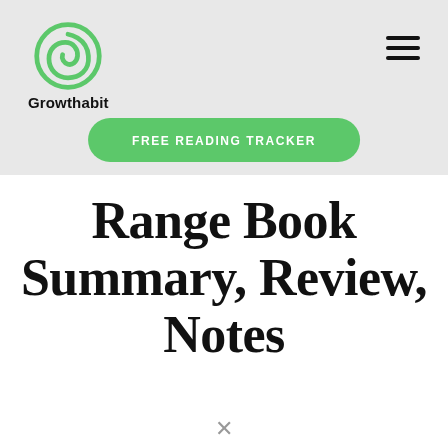[Figure (logo): Growthabit logo: green spiral G icon above bold text 'Growthabit']
FREE READING TRACKER
Range Book Summary, Review, Notes